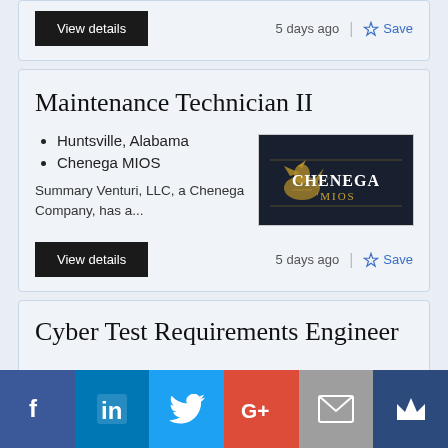View details
5 days ago
Save
Maintenance Technician II
Huntsville, Alabama
Chenega MIOS
Summary Venturi, LLC, a Chenega Company, has a...
[Figure (logo): Chenega MIOS company logo — dark navy background with gold eagle and text]
View details
5 days ago
Save
Cyber Test Requirements Engineer
[Figure (infographic): Social media share bar: Facebook, LinkedIn, Twitter, Google+, Email, Mightybell]